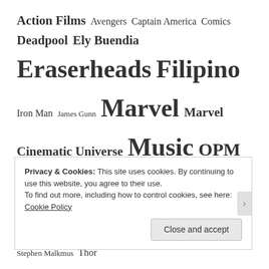Action Films Avengers Captain America Comics Deadpool Ely Buendia Eraserheads Filipino Iron Man James Gunn Marvel Marvel Cinematic Universe Music OPM Pavement Rico Blanco Rivermaya Spider-Man Stephen Malkmus Thor
Privacy & Cookies: This site uses cookies. By continuing to use this website, you agree to their use.
To find out more, including how to control cookies, see here:
Cookie Policy
Close and accept